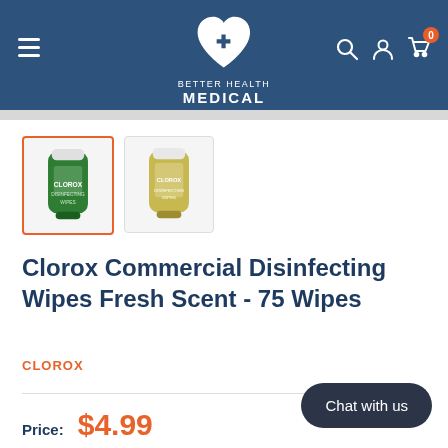Better Health Medical
[Figure (photo): Product thumbnail 1: Clorox Commercial Disinfecting Wipes canister, front view, selected (orange border)]
[Figure (photo): Product thumbnail 2: Clorox Commercial Disinfecting Wipes canister, back view]
Clorox Commercial Disinfecting Wipes Fresh Scent - 75 Wipes
CLOROX
Price: $4.99